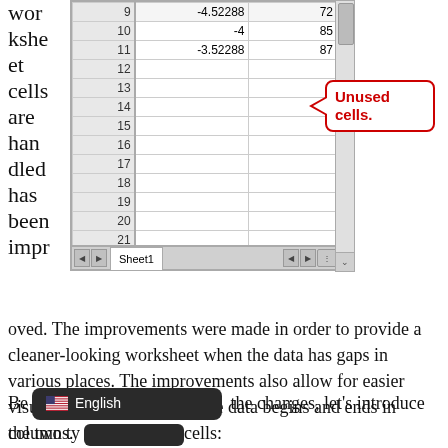worksheet cells are handled has been improved.
[Figure (screenshot): Excel spreadsheet showing rows 9-22 with data in rows 9-11 (values -4.52288/72, -4/85, -3.52288/87) and empty rows 12-22, with a callout box labeled 'Unused cells.' pointing to the empty rows. Sheet tab 'Sheet1' visible at bottom.]
oved. The improvements were made in order to provide a cleaner-looking worksheet when the data has gaps in various places. The improvements also allow for easier visual determination of where data begins and ends in columns.
Be [English] the changes, let's introduce the two ty [cells]: